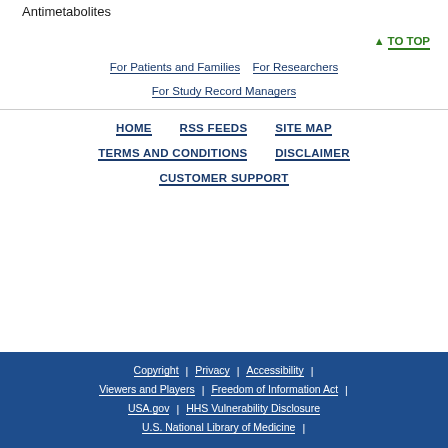Antimetabolites
↑ TO TOP
For Patients and Families
For Researchers
For Study Record Managers
HOME
RSS FEEDS
SITE MAP
TERMS AND CONDITIONS
DISCLAIMER
CUSTOMER SUPPORT
Copyright | Privacy | Accessibility | Viewers and Players | Freedom of Information Act | USA.gov | HHS Vulnerability Disclosure | U.S. National Library of Medicine |